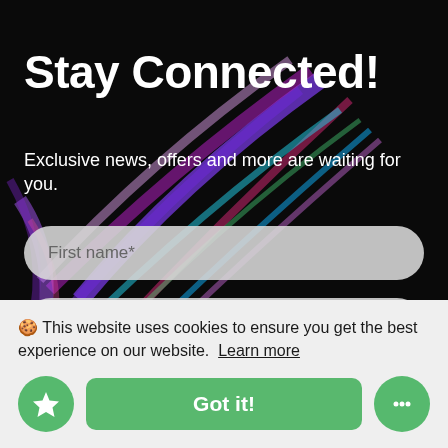Stay Connected!
Exclusive news, offers and more are waiting for you.
First name*
Last name*
🍪 This website uses cookies to ensure you get the best experience on our website.  Learn more
Got it!